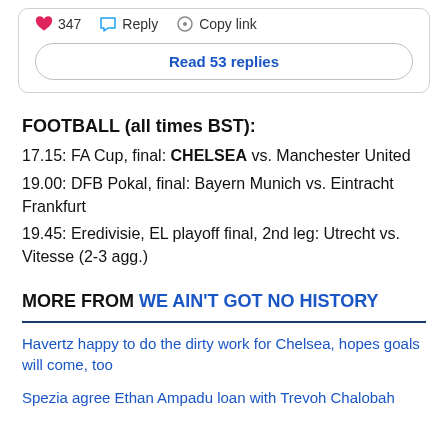[Figure (screenshot): Social media post action bar showing heart icon with 347 likes, Reply button, and Copy link button, followed by a 'Read 53 replies' button]
FOOTBALL (all times BST):
17.15: FA Cup, final: CHELSEA vs. Manchester United
19.00: DFB Pokal, final: Bayern Munich vs. Eintracht Frankfurt
19.45: Eredivisie, EL playoff final, 2nd leg: Utrecht vs. Vitesse (2-3 agg.)
MORE FROM WE AIN'T GOT NO HISTORY
Havertz happy to do the dirty work for Chelsea, hopes goals will come, too
Spezia agree Ethan Ampadu loan with Trevoh Chalobah